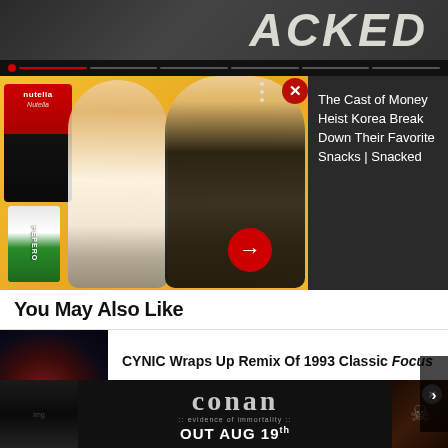[Figure (screenshot): Top banner showing partial text 'ACKED' (part of 'SNACKED') in large bold letters on dark background]
[Figure (screenshot): Video thumbnail showing two Korean men smiling with Nutella and Pepero snack products on yellow background. Red X close button and navigation arrow visible.]
The Cast of Money Heist Korea Break Down Their Favorite Snacks | Snacked
You May Also Like
[Figure (photo): Band photo of CYNIC members in dark venue setting]
CYNIC Wraps Up Remix Of 1993 Classic Focus
[Figure (photo): Concert/live performance photo with orange-red lighting and crowd]
CYNIC Shares 2010 Performance Of "King Of..."
[Figure (screenshot): Advertisement banner for Conan album with text 'OUT AUG 19th' and ':: evidence of immortality ::' on dark background]